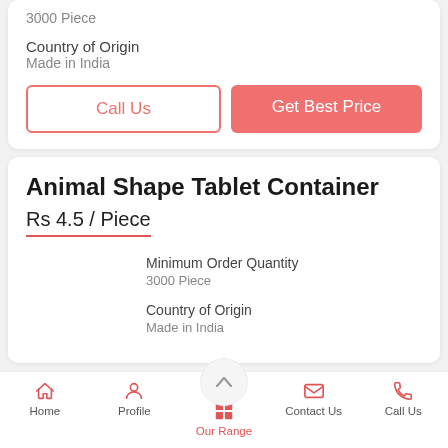3000 Piece
Country of Origin
Made in India
Call Us
Get Best Price
Animal Shape Tablet Container
Rs 4.5 / Piece
Minimum Order Quantity
3000 Piece
Country of Origin
Made in India
Home  Profile  Our Range  Contact Us  Call Us